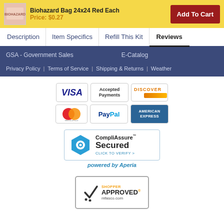Biohazard Bag 24x24 Red Each
Price: $0.27
Add To Cart
Description | Item Specifics | Refill This Kit | Reviews
GSA - Government Sales   E-Catalog
Privacy Policy | Terms of Service | Shipping & Returns | Weather
[Figure (logo): Accepted Payments logos: VISA, Discover, MasterCard, PayPal, American Express]
[Figure (logo): CompliAssure Secured badge - Click to Verify, powered by Aperia]
[Figure (logo): Shopper Approved badge for mfasco.com]